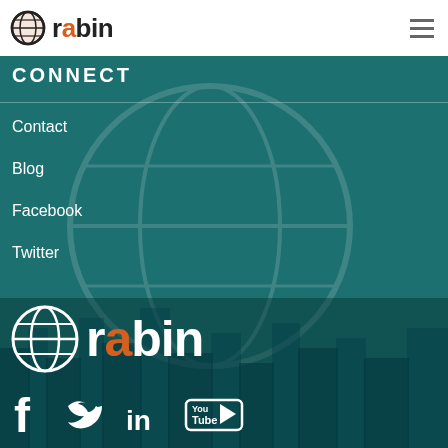[Figure (logo): Rabin company logo: globe icon with 'rabin' text (orange dot over 'i'), in header]
rabin (logo with hamburger menu)
CONNECT
Contact
Blog
Facebook
Twitter
[Figure (logo): Large white Rabin logo on teal background: globe icon with 'rabin' text with orange dot over 'i']
[Figure (infographic): Social media icons row: Facebook (f), Twitter (bird), LinkedIn (in), YouTube (play button)]
Rabin is a national asset disposition company, specializing in